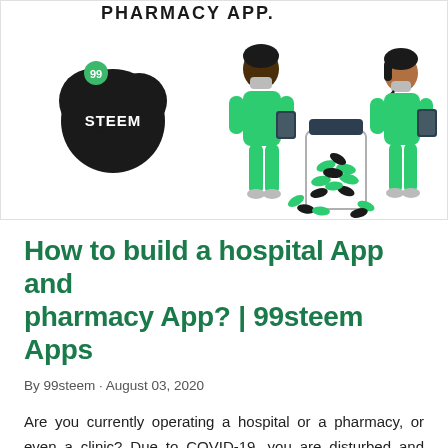[Figure (illustration): Illustration showing two medical workers in green scrubs and masks, a pill/medicine bottle with capsules, and a 99steem logo badge (black blob shape with '99' label and 'STEEM' text). Partial text 'PHARMACY APP.' visible at top.]
How to build a hospital App and pharmacy App? | 99steem Apps
By 99steem · August 03, 2020
Are you currently operating a hospital or a pharmacy, or even a clinic? Due to COVID-19, you are disturbed and unable to provide your services the way you offered them